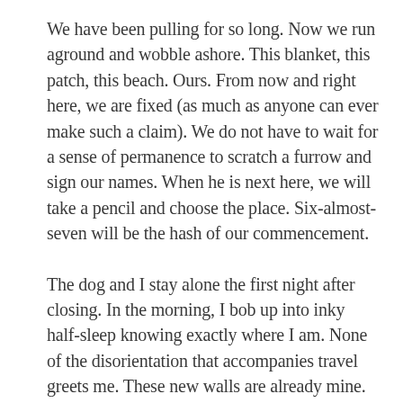We have been pulling for so long. Now we run aground and wobble ashore. This blanket, this patch, this beach. Ours. From now and right here, we are fixed (as much as anyone can ever make such a claim). We do not have to wait for a sense of permanence to scratch a furrow and sign our names. When he is next here, we will take a pencil and choose the place. Six-almost-seven will be the hash of our commencement.
The dog and I stay alone the first night after closing. In the morning, I bob up into inky half-sleep knowing exactly where I am. None of the disorientation that accompanies travel greets me. These new walls are already mine. The hum of I-66 outside the window is as steady as the surf. Hearing me stir, the pooch tip-taps in from wherever she spent the night. All the rooms are empty. All the floors are hers for the taking. She collapses with a grunt on the carpet near the foot of my